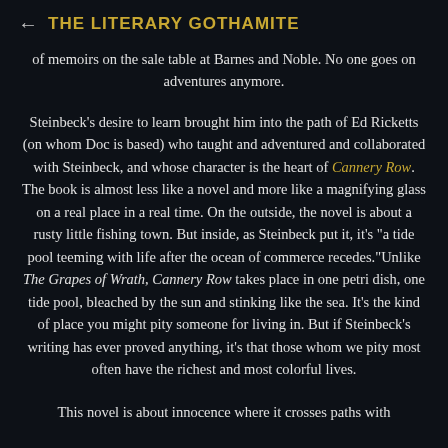THE LITERARY GOTHAMITE
of memoirs on the sale table at Barnes and Noble. No one goes on adventures anymore.
Steinbeck's desire to learn brought him into the path of Ed Ricketts (on whom Doc is based) who taught and adventured and collaborated with Steinbeck, and whose character is the heart of Cannery Row. The book is almost less like a novel and more like a magnifying glass on a real place in a real time. On the outside, the novel is about a rusty little fishing town. But inside, as Steinbeck put it, it's "a tide pool teeming with life after the ocean of commerce recedes."Unlike The Grapes of Wrath, Cannery Row takes place in one petri dish, one tide pool, bleached by the sun and stinking like the sea. It's the kind of place you might pity someone for living in. But if Steinbeck's writing has ever proved anything, it's that those whom we pity most often have the richest and most colorful lives.
This novel is about innocence where it crosses paths with